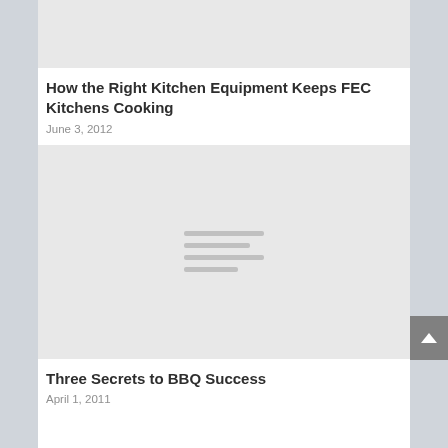[Figure (photo): Placeholder image at top of page, light gray background]
How the Right Kitchen Equipment Keeps FEC Kitchens Cooking
June 3, 2012
[Figure (photo): Placeholder image, light gray background with horizontal gray lines in center]
Three Secrets to BBQ Success
April 1, 2011